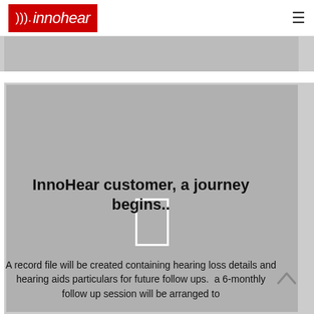innohear [logo with hamburger menu]
[Figure (photo): Grey banner image placeholder at top of page]
[Figure (photo): Grey card with centred image placeholder icon showing a vertical rectangle outline]
InnoHear customer, a journey begins..
A record file will be created containing hearing loss details and hearing aids particulars for future follow ups.  a 6-monthly follow up session will be arranged to